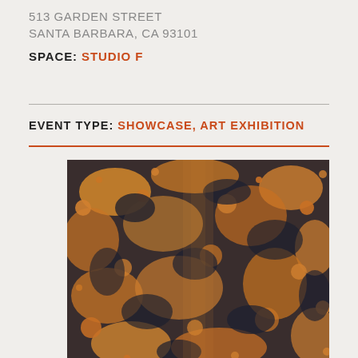513 GARDEN STREET
SANTA BARBARA, CA 93101
SPACE: STUDIO F
EVENT TYPE: SHOWCASE, ART EXHIBITION
[Figure (photo): Close-up photograph of an abstract textured artwork with orange/gold and dark navy/black speckled patterns, resembling a weathered or oxidized surface.]